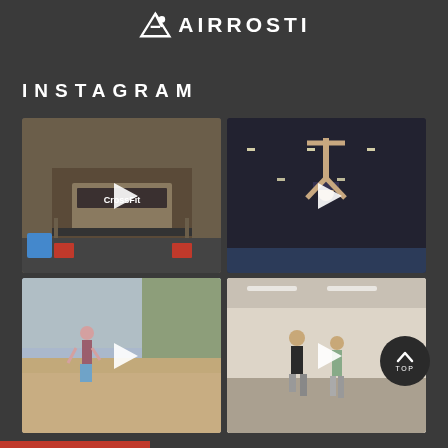[Figure (logo): Airrosti logo with stylized figure icon and text AIRROSTI in white on dark background]
INSTAGRAM
[Figure (photo): CrossFit gym exterior with people sitting outside, video play button overlay]
[Figure (photo): Person doing handstand in gym, video play button overlay]
[Figure (photo): Person walking on sandy beach with cliffs, video play button overlay]
[Figure (photo): Two people in gym interior, video play button overlay]